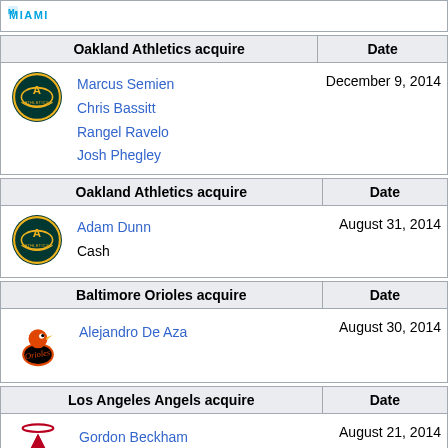| Oakland Athletics acquire | Date |
| --- | --- |
| Marcus Semien
Chris Bassitt
Rangel Ravelo
Josh Phegley | December 9, 2014 |
| Oakland Athletics acquire | Date |
| --- | --- |
| Adam Dunn
Cash | August 31, 2014 |
| Baltimore Orioles acquire | Date |
| --- | --- |
| Alejandro De Aza | August 30, 2014 |
| Los Angeles Angels acquire | Date |
| --- | --- |
| Gordon Beckham | August 21, 2014 |
Comment: Almonte was received as the player to be named late
| Arizona Diamondbacks acquire | Date |
| --- | --- |
| Blake Tekotte | August 3, 2014 |